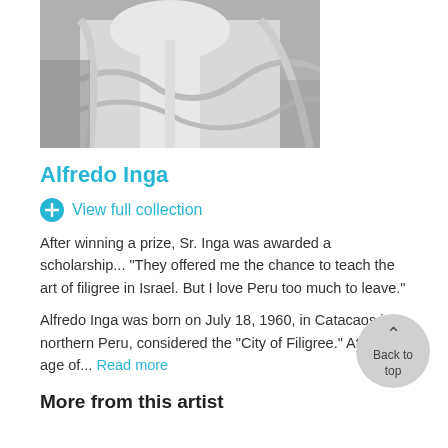[Figure (photo): Black and white photo of a man in a white shirt, cropped to show upper body, partially visible at top of page]
Alfredo Inga
View full collection
After winning a prize, Sr. Inga was awarded a scholarship... "They offered me the chance to teach the art of filigree in Israel. But I love Peru too much to leave."
Alfredo Inga was born on July 18, 1960, in Catacaos in northern Peru, considered the "City of Filigree." At the age of... Read more
More from this artist